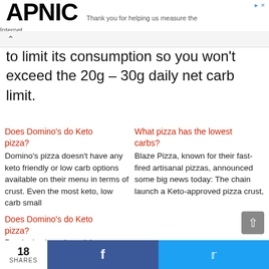APNIC — Thank you for helping us measure the Internet.
to limit its consumption so you won't exceed the 20g – 30g daily net carb limit.
Does Domino's do Keto pizza?
Domino's pizza doesn't have any keto friendly or low carb options available on their menu in terms of crust. Even the most keto, low carb small
What pizza has the lowest carbs?
Blaze Pizza, known for their fast-fired artisanal pizzas, announced some big news today: The chain launch a Keto-approved pizza crust,
Does Domino's do Keto pizza?
Domino's pizza doesn't have
18 SHARES